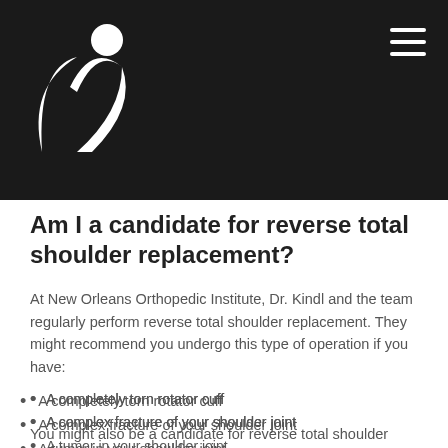[Figure (logo): New Orleans Orthopedic Institute logo — white abstract human figure with crescent shapes on dark background]
Am I a candidate for reverse total shoulder replacement?
At New Orleans Orthopedic Institute, Dr. Kindl and the team regularly perform reverse total shoulder replacement. They might recommend you undergo this type of operation if you have:
A completely torn rotator cuff
A complex fracture of your shoulder joint
A tumor in your shoulder joint
Severe shoulder pain
Chronic shoulder dislocation
You might also be a candidate for reverse total shoulder